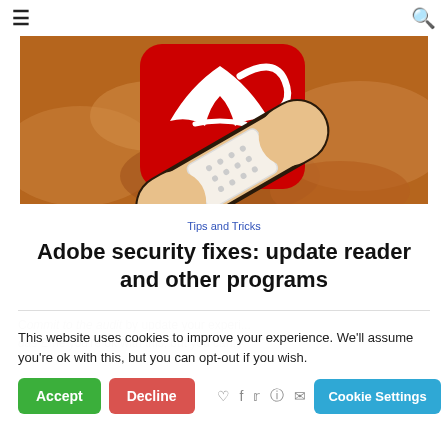≡  🔍
[Figure (illustration): Hero image showing Adobe Acrobat logo (red rounded square with white stylized A) overlaid with a bandage/plaster illustration on a sandy/rocky background]
Tips and Tricks
Adobe security fixes: update reader and other programs
This website uses cookies to improve your experience. We'll assume you're ok with this, but you can opt-out if you wish.
Accept   Decline   Cookie Settings